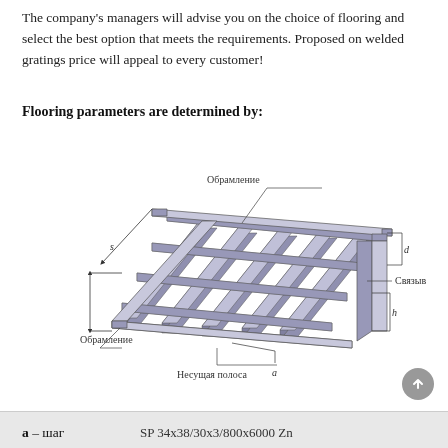The company's managers will advise you on the choice of flooring and select the best option that meets the requirements. Proposed on welded gratings price will appeal to every customer!
Flooring parameters are determined by:
[Figure (engineering-diagram): 3D isometric diagram of a welded grating panel showing bearing bars ('Несущая полоса'), binding bars ('Связывающая полоса'), and frame/border ('Обрамление'), with dimension labels s, a, h, d indicated by arrows.]
a – шаг
SP 34x38/30x3/800x6000 Zn